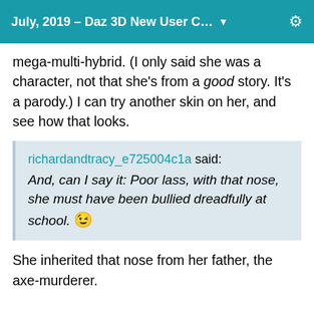July, 2019 – Daz 3D New User C… ▼
mega-multi-hybrid. (I only said she was a character, not that she's from a good story. It's a parody.) I can try another skin on her, and see how that looks.
richardandtracy_e725004c1a said: And, can I say it: Poor lass, with that nose, she must have been bullied dreadfully at school. 😉
She inherited that nose from her father, the axe-murderer.